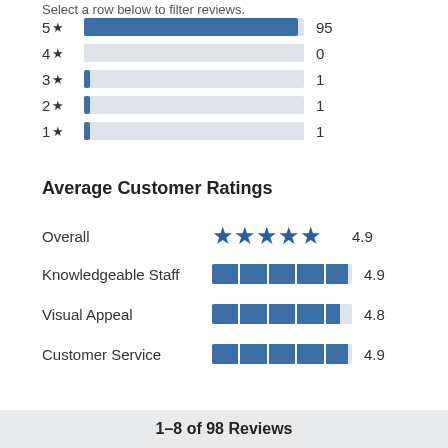Select a row below to filter reviews.
[Figure (bar-chart): Star Rating Distribution]
Average Customer Ratings
| Category | Stars | Score |
| --- | --- | --- |
| Overall | ★★★★★ | 4.9 |
| Knowledgeable Staff |  | 4.9 |
| Visual Appeal |  | 4.8 |
| Customer Service |  | 4.9 |
1–8 of 98 Reviews